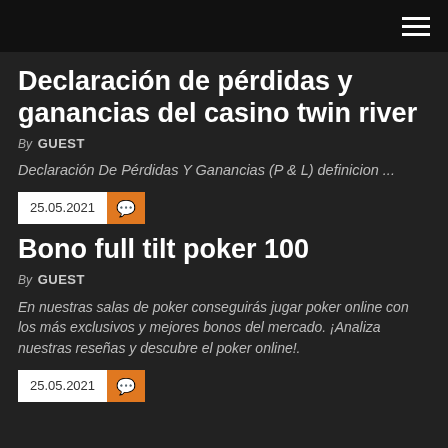Declaración de pérdidas y ganancias del casino twin river
By GUEST
Declaración De Pérdidas Y Ganancias (P & L) definicion ...
25.05.2021
Bono full tilt poker 100
By GUEST
En nuestras salas de poker conseguirás jugar poker online con los más exclusivos y mejores bonos del mercado. ¡Analiza nuestras reseñas y descubre el poker online!.
25.05.2021